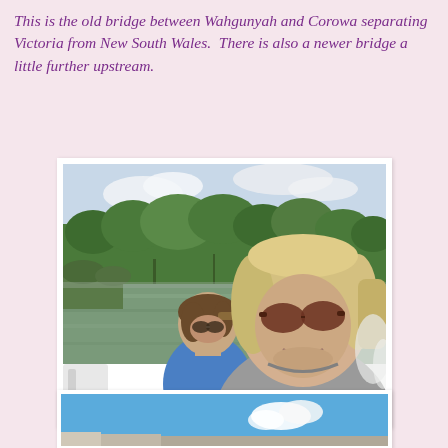This is the old bridge between Wahgunyah and Corowa separating Victoria from New South Wales.  There is also a newer bridge a little further upstream.
[Figure (photo): Two women on a boat on a river. The woman in the foreground has blonde hair, sunglasses, and a grey top. The woman in the background wears a blue sleeveless top and sunglasses and looks down. Trees and cloudy sky visible in the background over the river.]
[Figure (photo): Partial view of another photo showing a bright blue sky with a small white cloud and part of a structure at the bottom, cropped at the page edge.]